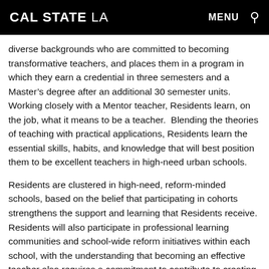CAL STATE LA | MENU
diverse backgrounds who are committed to becoming transformative teachers, and places them in a program in which they earn a credential in three semesters and a Master's degree after an additional 30 semester units. Working closely with a Mentor teacher, Residents learn, on the job, what it means to be a teacher.  Blending the theories of teaching with practical applications, Residents learn the essential skills, habits, and knowledge that will best position them to be excellent teachers in high-need urban schools.
Residents are clustered in high-need, reform-minded schools, based on the belief that participating in cohorts strengthens the support and learning that Residents receive. Residents will also participate in professional learning communities and school-wide reform initiatives within each school, with the understanding that becoming an effective teacher also requires a commitment to contribute to creating a high-performing school.